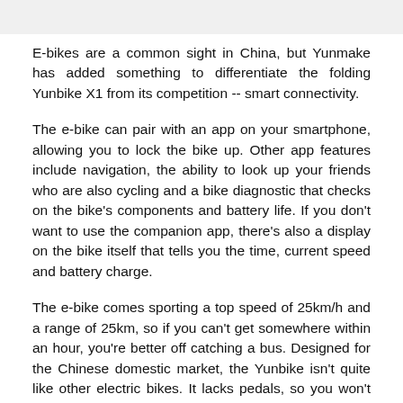E-bikes are a common sight in China, but Yunmake has added something to differentiate the folding Yunbike X1 from its competition -- smart connectivity.
The e-bike can pair with an app on your smartphone, allowing you to lock the bike up. Other app features include navigation, the ability to look up your friends who are also cycling and a bike diagnostic that checks on the bike's components and battery life. If you don't want to use the companion app, there's also a display on the bike itself that tells you the time, current speed and battery charge.
The e-bike comes sporting a top speed of 25km/h and a range of 25km, so if you can't get somewhere within an hour, you're better off catching a bus. Designed for the Chinese domestic market, the Yunbike isn't quite like other electric bikes. It lacks pedals, so you won't be able to ride the bike normally